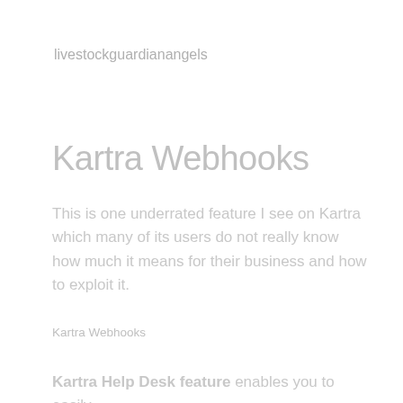livestockguardianangels
Kartra Webhooks
This is one underrated feature I see on Kartra which many of its users do not really know how much it means for their business and how to exploit it.
Kartra Webhooks
Kartra Help Desk feature enables you to easily